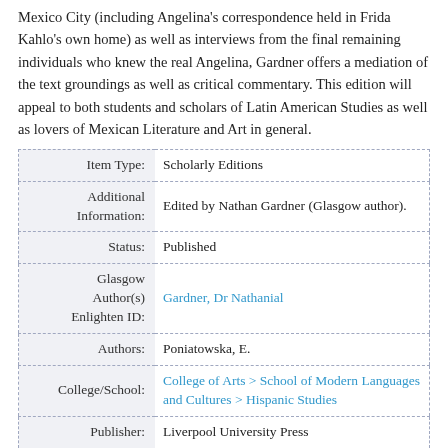Mexico City (including Angelina's correspondence held in Frida Kahlo's own home) as well as interviews from the final remaining individuals who knew the real Angelina, Gardner offers a mediation of the text groundings as well as critical commentary. This edition will appeal to both students and scholars of Latin American Studies as well as lovers of Mexican Literature and Art in general.
| Field | Value |
| --- | --- |
| Item Type: | Scholarly Editions |
| Additional Information: | Edited by Nathan Gardner (Glasgow author). |
| Status: | Published |
| Glasgow Author(s) Enlighten ID: | Gardner, Dr Nathanial |
| Authors: | Poniatowska, E. |
| College/School: | College of Arts > School of Modern Languages and Cultures > Hispanic Studies |
| Publisher: | Liverpool University Press |